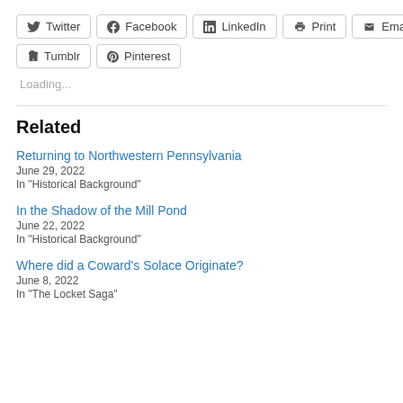[Figure (other): Social share buttons row 1: Twitter, Facebook, LinkedIn, Print, Email]
[Figure (other): Social share buttons row 2: Tumblr, Pinterest]
Loading...
Related
Returning to Northwestern Pennsylvania
June 29, 2022
In "Historical Background"
In the Shadow of the Mill Pond
June 22, 2022
In "Historical Background"
Where did a Coward's Solace Originate?
June 8, 2022
In "The Locket Saga"